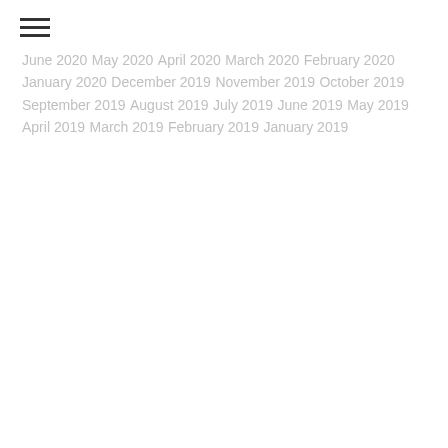June 2020
May 2020
April 2020
March 2020
February 2020
January 2020
December 2019
November 2019
October 2019
September 2019
August 2019
July 2019
June 2019
May 2019
April 2019
March 2019
February 2019
January 2019